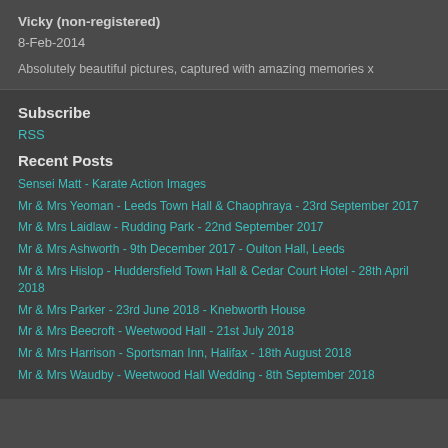Vicky (non-registered)
8-Feb-2014
Absolutely beautiful pictures, captured with amazing memories x
Subscribe
RSS
Recent Posts
Sensei Matt - Karate Action Images
Mr & Mrs Yeoman - Leeds Town Hall & Chaophraya - 23rd September 2017
Mr & Mrs Laidlaw - Rudding Park - 22nd September 2017
Mr & Mrs Ashworth - 9th December 2017 - Oulton Hall, Leeds
Mr & Mrs Hislop - Huddersfield Town Hall & Cedar Court Hotel - 28th April 2018
Mr & Mrs Parker - 23rd June 2018 - Knebworth House
Mr & Mrs Beecroft - Weetwood Hall - 21st July 2018
Mr & Mrs Harrison - Sportsman Inn, Halifax - 18th August 2018
Mr & Mrs Waudby - Weetwood Hall Wedding - 8th September 2018